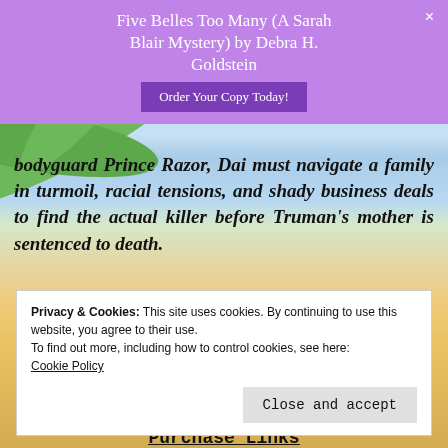Five Belles Too Many (A Sarah Blair Mystery) by Debra H. Goldstein
[Figure (screenshot): Purple banner with book title and Order Your Copy Today button with close X]
bodyguard Prince Razor, Dai must navigate a family in turmoil, racial tensions, and shady business deals to find the actual killer before Truman's mother is sentenced to death.
Author Links
[Figure (screenshot): Partially visible author links row with underlined blue text]
Privacy & Cookies: This site uses cookies. By continuing to use this website, you agree to their use.
To find out more, including how to control cookies, see here:
Cookie Policy
Close and accept
Purchase Links